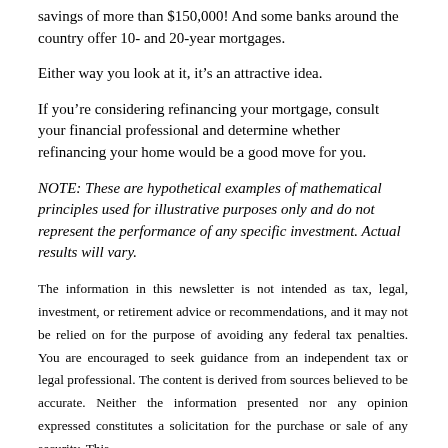savings of more than $150,000! And some banks around the country offer 10- and 20-year mortgages.
Either way you look at it, it’s an attractive idea.
If you’re considering refinancing your mortgage, consult your financial professional and determine whether refinancing your home would be a good move for you.
NOTE: These are hypothetical examples of mathematical principles used for illustrative purposes only and do not represent the performance of any specific investment. Actual results will vary.
The information in this newsletter is not intended as tax, legal, investment, or retirement advice or recommendations, and it may not be relied on for the purpose of avoiding any federal tax penalties. You are encouraged to seek guidance from an independent tax or legal professional. The content is derived from sources believed to be accurate. Neither the information presented nor any opinion expressed constitutes a solicitation for the purchase or sale of any security. This